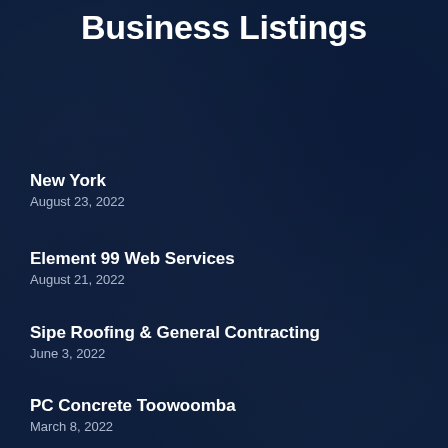Business Listings
New York
August 23, 2022
Element 99 Web Services
August 21, 2022
Sipe Roofing & General Contracting
June 3, 2022
PC Concrete Toowoomba
March 8, 2022